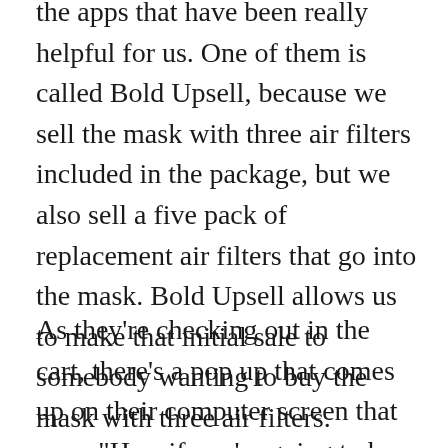the apps that have been really helpful for us. One of them is called Bold Upsell, because we sell the mask with three air filters included in the package, but we also sell a five pack of replacement air filters that go into the mask. Bold Upsell allows us to make that initial sale to somebody wanting to buy the mask with three air filters.
As they're checking out in the cart, there's a pop up that comes up on their computer screen that says, "Hey, if you're going to buy this mask with three air filters, it's great, it's a great way to start to protect your pet, but if you add these five extra filters right now, you'll save something to not having to go back and